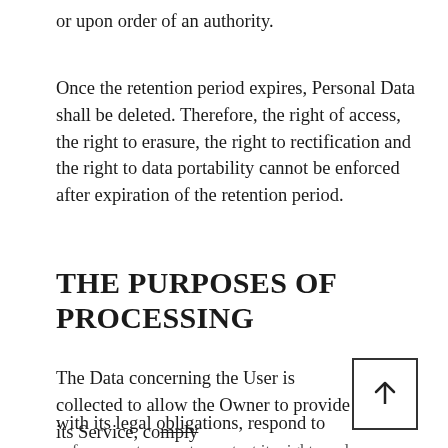or upon order of an authority.
Once the retention period expires, Personal Data shall be deleted. Therefore, the right of access, the right to erasure, the right to rectification and the right to data portability cannot be enforced after expiration of the retention period.
THE PURPOSES OF PROCESSING
The Data concerning the User is collected to allow the Owner to provide its Service, comply with its legal obligations, respond to enforcement requests, protect its rights and